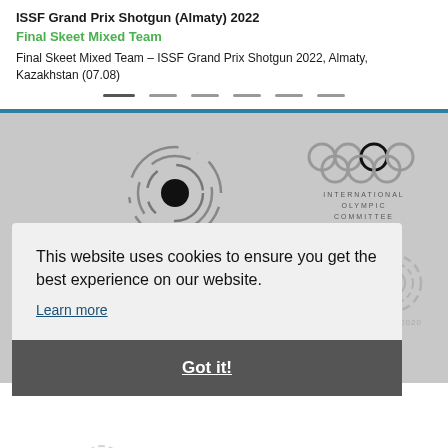ISSF Grand Prix Shotgun (Almaty) 2022
Final Skeet Mixed Team
Final Skeet Mixed Team – ISSF Grand Prix Shotgun 2022, Almaty, Kazakhstan (07.08)
[Figure (illustration): Pagination dots row - 6 horizontal bars]
[Figure (logo): ISSF logo - circular target sight with ISSF text below]
[Figure (logo): International Olympic Committee logo - five rings with text INTERNATIONAL OLYMPIC COMMITTEE]
[Figure (logo): World Anti-Doping Agency logo partially visible behind cookie banner]
[Figure (logo): Tokyo 2020 logo partially visible behind cookie banner]
This website uses cookies to ensure you get the best experience on our website.
Learn more
Got it!